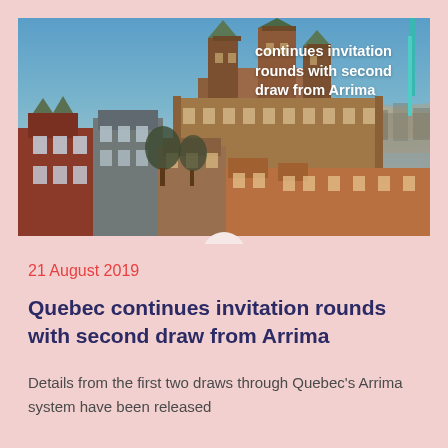[Figure (photo): Aerial/skyline view of Quebec City featuring Château Frontenac castle and historic buildings against a blue sky, with text overlay reading 'continues invitation rounds with second draw from Arrima']
21 August 2019
Quebec continues invitation rounds with second draw from Arrima
Details from the first two draws through Quebec's Arrima system have been released